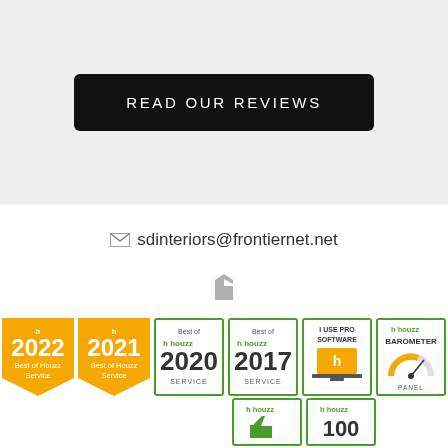READ OUR REVIEWS
sdinteriors@frontiernet.net
[Figure (logo): Houzz 'h' icon in gray]
[Figure (logo): Best of Houzz 2022 Service badge - yellow pennant shape]
[Figure (logo): Best of Houzz 2021 Service badge - yellow pennant shape]
[Figure (logo): Best of houzz 2020 SERVICE badge - green outlined rectangle]
[Figure (logo): Best of houzz 2017 SERVICE badge - green outlined rectangle]
[Figure (logo): I USE PRO SOFTWARE badge - green outlined rectangle with monitor icon]
[Figure (logo): houzz BAROMETER PANEL badge - green outlined rectangle]
[Figure (logo): houzz thumbs up badge - green outlined rectangle]
[Figure (logo): houzz 100 badge - green outlined rectangle]